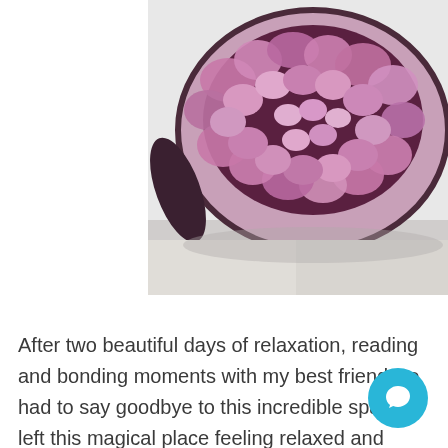[Figure (photo): Close-up photo of a bowl or arrangement filled with pink/purple flower petals and blooms, partially visible at top of page, cropped at top edge.]
After two beautiful days of relaxation, reading and bonding moments with my best friend we had to say goodbye to this incredible space. I left this magical place feeling relaxed and refreshed and ready to take on the busy week ahead of me. Sometimes we need to find ways to treat ourselves, even if our lives are super busy and time seems to be limited which is why I love finding local places lik... that allow me to escape the city and rejuvenate to take on my next challenge...